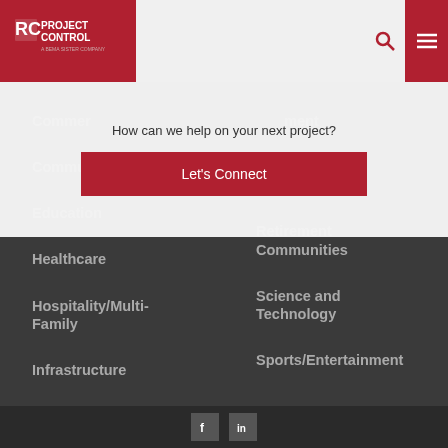[Figure (logo): Project Control - A BEMA Sister Company logo, white text on red background]
How can we help on your next project?
Let's Connect
Commercial
Government
Community
Religious Organizations
Education
Retirement Communities
Healthcare
Science and Technology
Hospitality/Multi-Family
Sports/Entertainment
Infrastructure
Facebook LinkedIn social icons